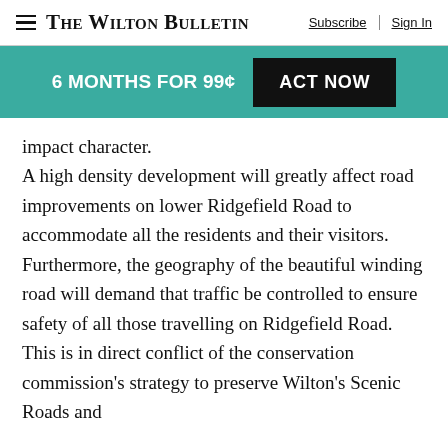The Wilton Bulletin — Subscribe | Sign In
6 MONTHS FOR 99¢  ACT NOW
impact character.
A high density development will greatly affect road improvements on lower Ridgefield Road to accommodate all the residents and their visitors.  Furthermore, the geography of the beautiful winding road will demand that traffic be controlled to ensure safety of all those travelling on Ridgefield Road.  This is in direct conflict of the conservation commission's strategy to preserve Wilton's Scenic Roads and